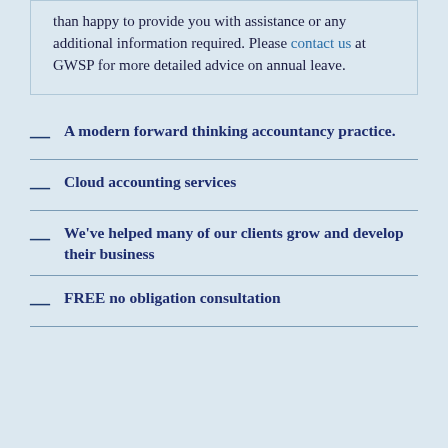than happy to provide you with assistance or any additional information required. Please contact us at GWSP for more detailed advice on annual leave.
A modern forward thinking accountancy practice.
Cloud accounting services
We've helped many of our clients grow and develop their business
FREE no obligation consultation